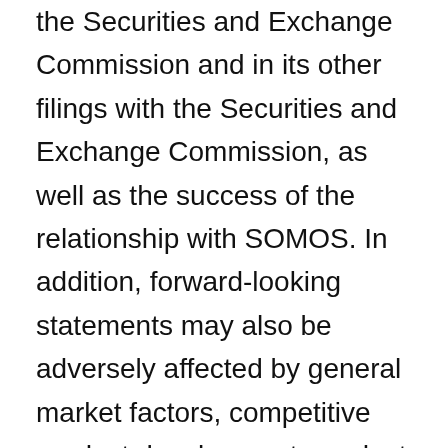the Securities and Exchange Commission and in its other filings with the Securities and Exchange Commission, as well as the success of the relationship with SOMOS. In addition, forward-looking statements may also be adversely affected by general market factors, competitive product development, product availability, federal and state regulations and legislation, the regulatory process for new products and indications, manufacturing issues that may arise, patent positions and litigation, among other factors. The forward-looking statements contained in this press release speak only as of the date the statements were made, and we do not undertake any obligation to update